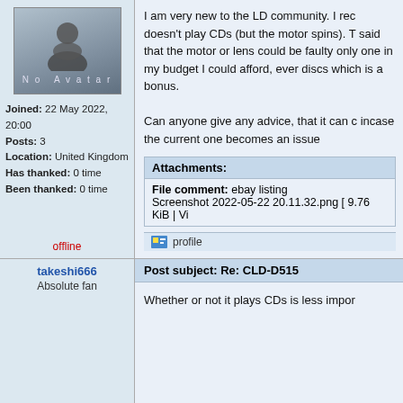[Figure (illustration): Default forum avatar showing a generic person silhouette with 'No Avatar' text below]
Joined: 22 May 2022, 20:00
Posts: 3
Location: United Kingdom
Has thanked: 0 time
Been thanked: 0 time
offline
I am very new to the LD community. I rec doesn't play CDs (but the motor spins). T said that the motor or lens could be faulty only one in my budget I could afford, ever discs which is a bonus.

Can anyone give any advice, that it can c incase the current one becomes an issue
Attachments:
File comment: ebay listing
Screenshot 2022-05-22 20.11.32.png [ 9.76 KiB | Vi
profile
takeshi666
Absolute fan
Post subject: Re: CLD-D515
Whether or not it plays CDs is less impor
Joined: 01 Feb 2018, 02:41
Posts: 1890
Location: Finland
Has thanked: 1145 ti